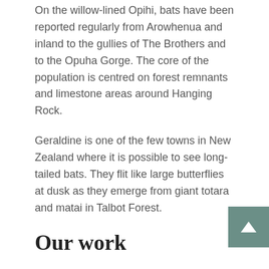On the willow-lined Opihi, bats have been reported regularly from Arowhenua and inland to the gullies of The Brothers and to the Opuha Gorge. The core of the population is centred on forest remnants and limestone areas around Hanging Rock.
Geraldine is one of the few towns in New Zealand where it is possible to see long-tailed bats. They flit like large butterflies at dusk as they emerge from giant totara and matai in Talbot Forest.
Our work
Surveys are being undertaken in many areas to determine the current distribution of the two bat species. Bats are located by searching with electronic bat recorders that can pick up high frequency echo location calls.
DOC protects priority populations of long-tailed bat